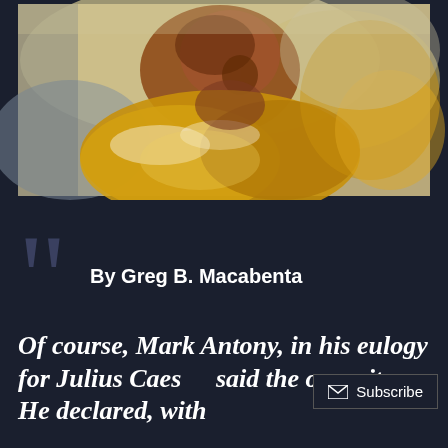[Figure (illustration): Painterly illustration of a man in a yellow/gold shirt, rendered in loose watercolor style with warm yellows, oranges, and browns against a light background.]
By Greg B. Macabenta
Of course, Mark Antony, in his eulogy for Julius Caes… said the opposite. He declared, with
Subscribe